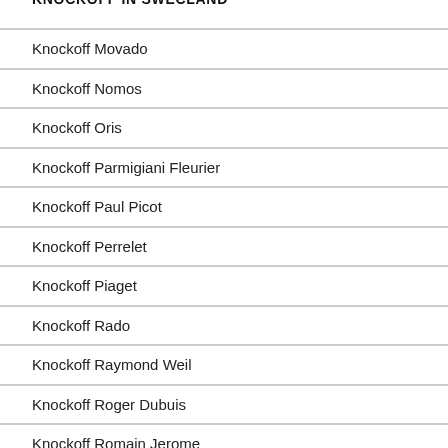Knockoff Movado
Knockoff Nomos
Knockoff Oris
Knockoff Parmigiani Fleurier
Knockoff Paul Picot
Knockoff Perrelet
Knockoff Piaget
Knockoff Rado
Knockoff Raymond Weil
Knockoff Roger Dubuis
Knockoff Romain Jerome